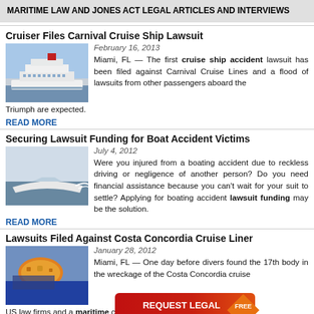MARITIME LAW AND JONES ACT LEGAL ARTICLES AND INTERVIEWS
Cruiser Files Carnival Cruise Ship Lawsuit
February 16, 2013
Miami, FL — The first cruise ship accident lawsuit has been filed against Carnival Cruise Lines and a flood of lawsuits from other passengers aboard the Triumph are expected.
READ MORE
Securing Lawsuit Funding for Boat Accident Victims
July 4, 2012
Were you injured from a boating accident due to reckless driving or negligence of another person? Do you need financial assistance because you can't wait for your suit to settle? Applying for boating accident lawsuit funding may be the solution.
READ MORE
Lawsuits Filed Against Costa Concordia Cruise Liner
January 28, 2012
Miami, FL — One day before divers found the 17th body in the wreckage of the Costa Concordia cruise ship, US law firms and a maritime class-action at least $160,000 for...
[Figure (photo): Large white cruise ship at sea]
[Figure (photo): White speedboat on water]
[Figure (photo): Costa Concordia cruise ship wreckage with orange lifeboat visible]